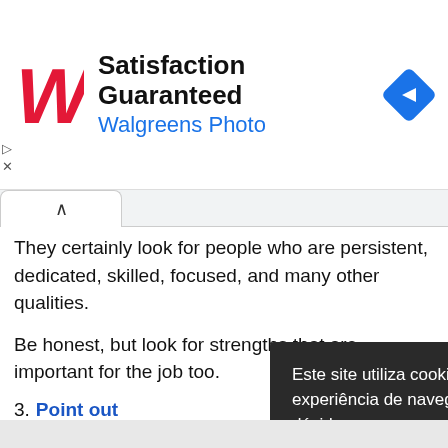[Figure (screenshot): Walgreens Photo advertisement banner with logo, 'Satisfaction Guaranteed' title, 'Walgreens Photo' subtitle in blue, and a blue navigation diamond icon on the right. Small triangle and X close icons on the left.]
They certainly look for people who are persistent, dedicated, skilled, focused, and many other qualities.
Be honest, but look for strengths that are important for the job too.
3. Point out [...]
This is a sensit[ive topic, so handle it] carefully.
The interviewe[r knows that we all make mistakes, aft]er all we all do, bu[t they want to know what you learned from] them.
[Figure (screenshot): Cookie consent popup in Portuguese. Dark background. Text: 'Este site utiliza cookies para melhorar sua experiência de navegação. Em caso de dúvidas, acesse a política de privacidade.' with an 'Aceitar' button.]